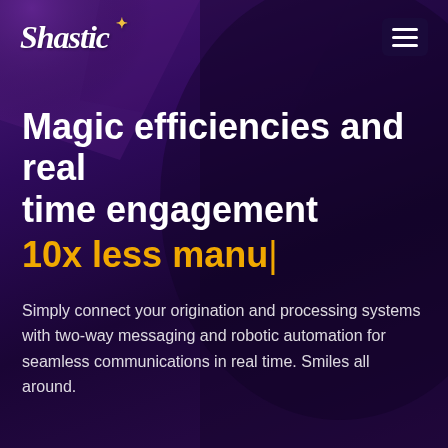[Figure (logo): Shastic logo in white italic script with a small star accent, top-left of page]
[Figure (illustration): Hamburger menu icon (three horizontal white lines) on dark navy rounded rectangle background, top-right]
Magic efficiencies and real time engagement 10x less manu|
Simply connect your origination and processing systems with two-way messaging and robotic automation for seamless communications in real time. Smiles all around.